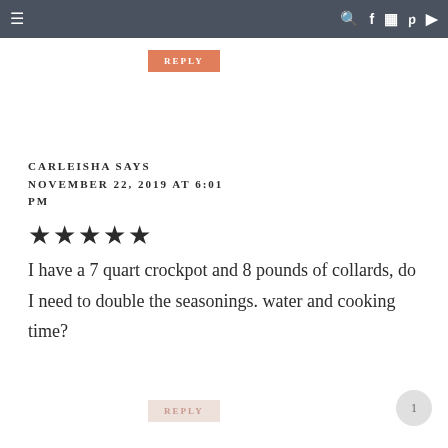≡  🔍 f 📷 p ▶
REPLY
CARLEISHA SAYS
NOVEMBER 22, 2019 AT 6:01 PM
[Figure (other): 5 filled star rating icons]
I have a 7 quart crockpot and 8 pounds of collards, do I need to double the seasonings. water and cooking time?
REPLY